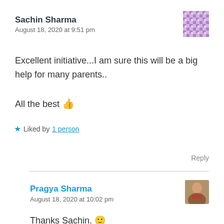Sachin Sharma
August 18, 2020 at 9:51 pm
Excellent initiative...I am sure this will be a big help for many parents..
All the best 👍
★ Liked by 1 person
Reply
Pragya Sharma
August 18, 2020 at 10:02 pm
Thanks Sachin. 🙂